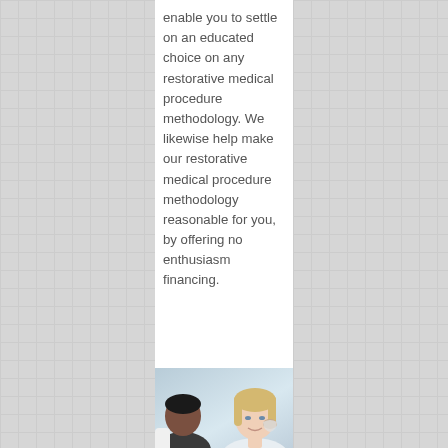enable you to settle on an educated choice on any restorative medical procedure methodology. We likewise help make our restorative medical procedure methodology reasonable for you, by offering no enthusiasm financing.
[Figure (photo): A medical professional (doctor) examining or consulting with a female patient, touching her face/cheek area. Light blue background.]